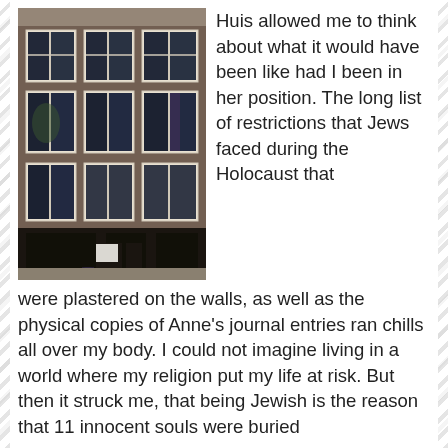[Figure (photo): Exterior photograph of a narrow brick building (Anne Frank Huis) in Amsterdam, showing multiple floors with large rectangular windows with white frames, taken from street level looking up.]
Huis allowed me to think about what it would have been like had I been in her position. The long list of restrictions that Jews faced during the Holocaust that were plastered on the walls, as well as the physical copies of Anne's journal entries ran chills all over my body. I could not imagine living in a world where my religion put my life at risk. But then it struck me, that being Jewish is the reason that 11 innocent souls were buried